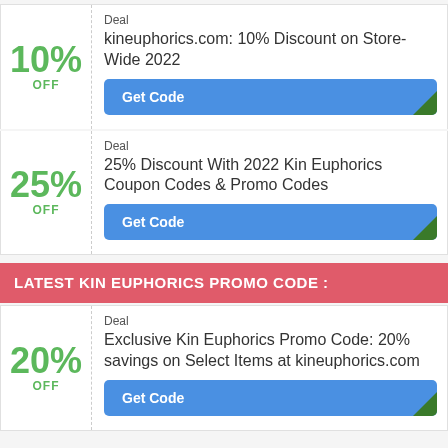Deal
kineuphorics.com: 10% Discount on Store-Wide 2022
[Figure (other): Get Code button (blue rounded rectangle with green corner fold)]
Deal
25% Discount With 2022 Kin Euphorics Coupon Codes & Promo Codes
[Figure (other): Get Code button (blue rounded rectangle with green corner fold)]
LATEST KIN EUPHORICS PROMO CODE :
Deal
Exclusive Kin Euphorics Promo Code: 20% savings on Select Items at kineuphorics.com
[Figure (other): Get Code button (blue rounded rectangle with green corner fold)]